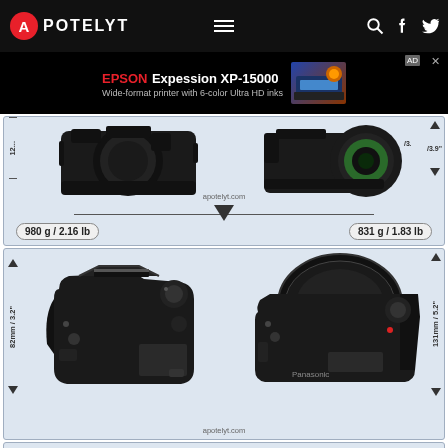APOTELYT
[Figure (infographic): Advertisement banner for EPSON Expression XP-15000 wide-format printer with 6-color Ultra HD inks]
[Figure (infographic): Camera size comparison front view: left camera 980g / 2.16 lb, right camera 831g / 1.83 lb, with balance scale indicator]
[Figure (infographic): Camera size comparison top view: left camera height 82mm / 3.2 inch, right camera height 131mm / 5.2 inch]
[Figure (infographic): Camera size comparison partial third section showing top of camera body]